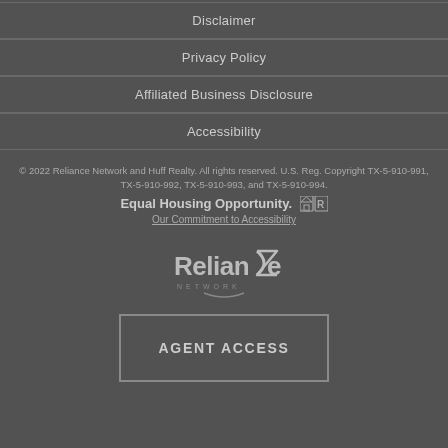Disclaimer
Privacy Policy
Affiliated Business Disclosure
Accessibility
© 2022 Reliance Network and Huff Realty. All rights reserved. U.S. Reg. Copyright TX-5-910-991, TX-5-910-992, TX-5-910-993, and TX-5-910-994.
Equal Housing Opportunity.
Our Commitment to Accessibility
[Figure (logo): Reliance Network logo in gray tones]
AGENT ACCESS